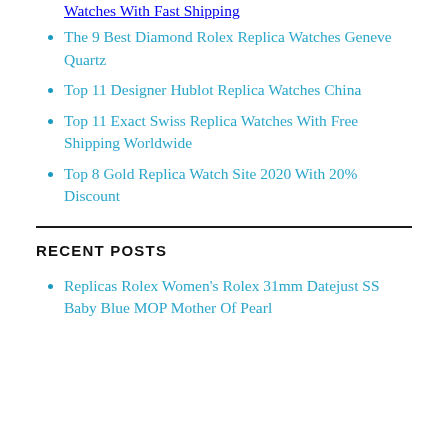Watches With Fast Shipping
The 9 Best Diamond Rolex Replica Watches Geneve Quartz
Top 11 Designer Hublot Replica Watches China
Top 11 Exact Swiss Replica Watches With Free Shipping Worldwide
Top 8 Gold Replica Watch Site 2020 With 20% Discount
RECENT POSTS
Replicas Rolex Women's Rolex 31mm Datejust SS Baby Blue MOP Mother Of Pearl